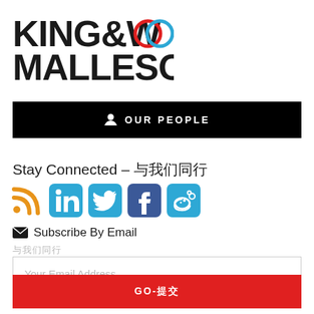[Figure (logo): King & Wood Mallesons logo with two overlapping circles (red and blue) as the 'OO' in WOOD]
OUR PEOPLE
Stay Connected – 与我们同行
[Figure (infographic): Social media icons: RSS (orange), LinkedIn (blue), Twitter (blue), Facebook (dark blue), Weibo (blue)]
✉ Subscribe By Email
与我们同行
Your Email Address
GO-提交